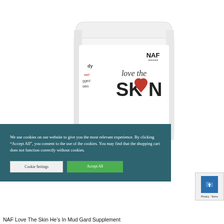[Figure (photo): A white cylindrical container with a white lid. The label reads 'NAF love the SKIN' with the O in SKIN being a red heart shape. Partially visible text on the side reads 'body wet aged skin'.]
We use cookies on our website to give you the most relevant experience. By clicking “Accept All”, you consent to the use of the cookies. You may find that the shopping cart does not function correctly without cookies.
[Figure (screenshot): Privacy widget with an upward arrow icon on a blue background, with 'Privacy - Terms' text below.]
NAF Love The Skin He’s In Mud Gard Supplement